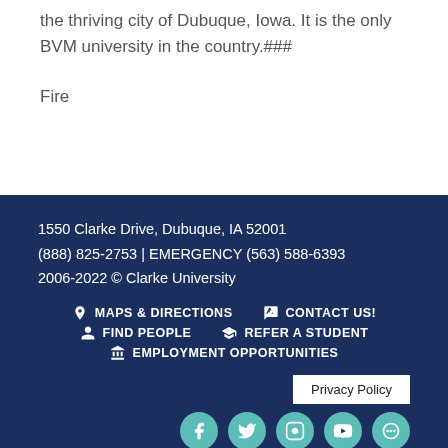the thriving city of Dubuque, Iowa. It is the only BVM university in the country.###
Fire
1550 Clarke Drive, Dubuque, IA 52001
(888) 825-2753 | EMERGENCY (563) 588-6393
2006-2022 © Clarke University
MAPS & DIRECTIONS | CONTACT US! | FIND PEOPLE | REFER A STUDENT | EMPLOYMENT OPPORTUNITIES
Privacy Policy